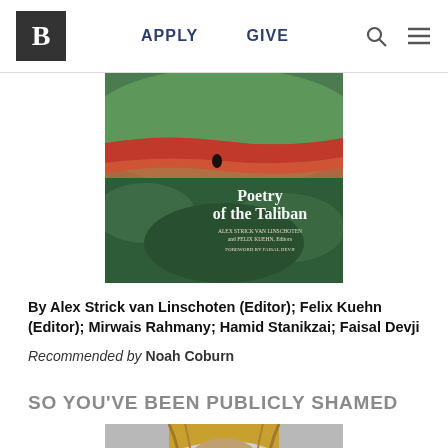B | APPLY  GIVE
[Figure (photo): Book cover of 'Poetry of the Taliban' edited by Alex Strick van Linschoten and Felix Kuehn, with foreword by Faisal Devji. Shows aerial landscape with green fields and red stripe, small figure silhouette.]
By Alex Strick van Linschoten (Editor); Felix Kuehn (Editor); Mirwais Rahmany; Hamid Stanikzai; Faisal Devji
Recommended by Noah Coburn
SO YOU'VE BEEN PUBLICLY SHAMED
[Figure (photo): Partial book cover image showing a face with blonde/golden hair against a grey background.]